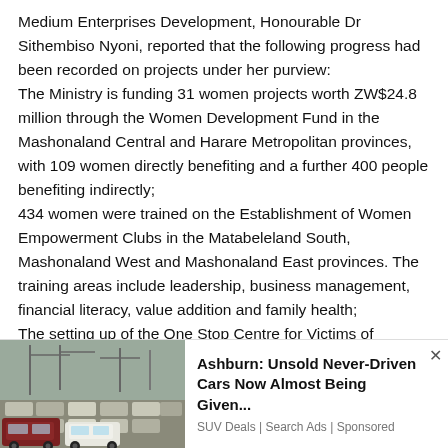Medium Enterprises Development, Honourable Dr Sithembiso Nyoni, reported that the following progress had been recorded on projects under her purview: The Ministry is funding 31 women projects worth ZW$24.8 million through the Women Development Fund in the Mashonaland Central and Harare Metropolitan provinces, with 109 women directly benefiting and a further 400 people benefiting indirectly; 434 women were trained on the Establishment of Women Empowerment Clubs in the Matabeleland South, Mashonaland West and Mashonaland East provinces. The training areas include leadership, business management, financial literacy, value addition and family health; The setting up of the One Stop Centre for Victims of
[Figure (photo): Photo of cars/SUVs in a lot, used as advertisement image for unsold cars deal]
Ashburn: Unsold Never-Driven Cars Now Almost Being Given... SUV Deals | Search Ads | Sponsored